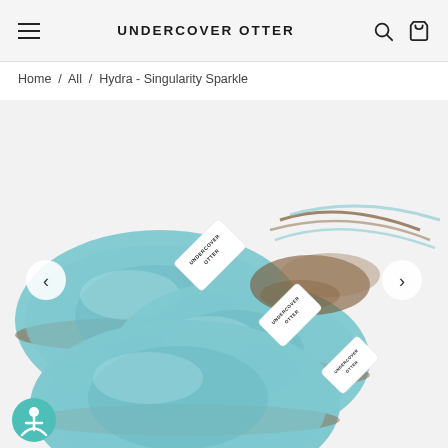UNDERCOVER OTTER
Home / All / Hydra - Singularity Sparkle
[Figure (photo): Three skeins of hand-dyed yarn in light teal/blue color with brown speckles, each wrapped with a white Undercover Otter label. The skeins are arranged overlapping each other on a white background.]